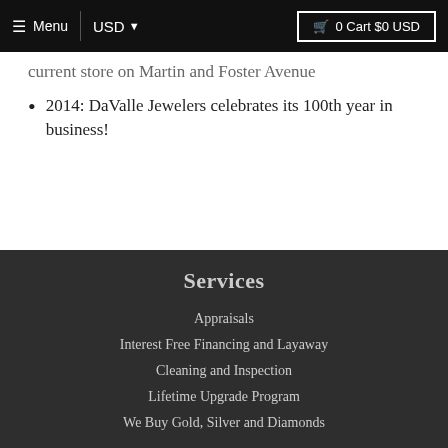≡ Menu | USD ▼  🛒 0 Cart $0 USD
current store on Martin and Foster Avenue
2014: DaValle Jewelers celebrates its 100th year in business!
Services
Appraisals
Interest Free Financing and Layaway
Cleaning and Inspection
Lifetime Upgrade Program
We Buy Gold, Silver and Diamonds
Contact